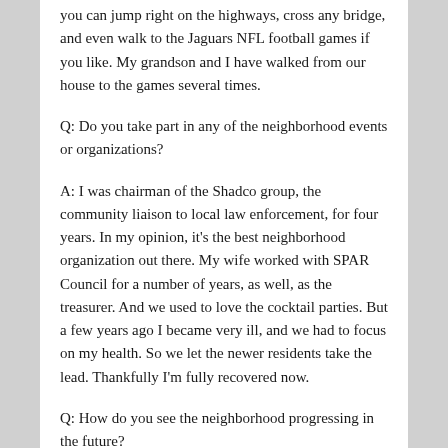you can jump right on the highways, cross any bridge, and even walk to the Jaguars NFL football games if you like. My grandson and I have walked from our house to the games several times.
Q: Do you take part in any of the neighborhood events or organizations?
A: I was chairman of the Shadco group, the community liaison to local law enforcement, for four years. In my opinion, it's the best neighborhood organization out there. My wife worked with SPAR Council for a number of years, as well, as the treasurer. And we used to love the cocktail parties. But a few years ago I became very ill, and we had to focus on my health. So we let the newer residents take the lead. Thankfully I'm fully recovered now.
Q: How do you see the neighborhood progressing in the future?